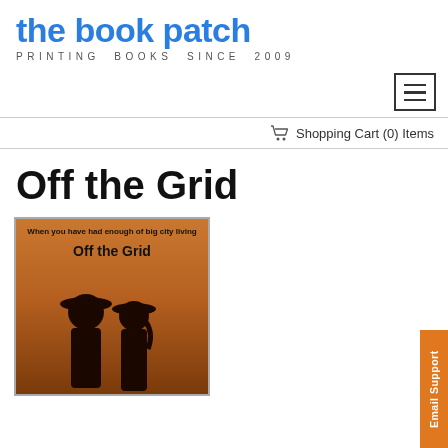the book patch — PRINTING BOOKS SINCE 2009
[Figure (screenshot): Hamburger menu button (three horizontal lines in a rectangle border)]
Shopping Cart (0) Items
Off the Grid
[Figure (photo): Book cover for 'Off the Grid' showing silhouettes of two figures wearing cowboy hats against an orange/brown sunset background. Text on cover: 'When you have had enough of big city living' and 'Off the Grid']
Email Support